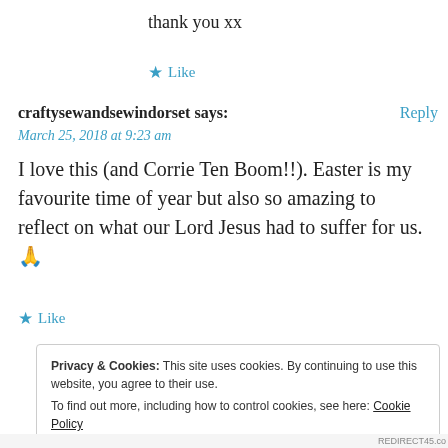thank you xx
★ Like
craftysewandsewindorset says:
Reply
March 25, 2018 at 9:23 am
I love this (and Corrie Ten Boom!!). Easter is my favourite time of year but also so amazing to reflect on what our Lord Jesus had to suffer for us. 🙏
★ Like
Privacy & Cookies: This site uses cookies. By continuing to use this website, you agree to their use.
To find out more, including how to control cookies, see here: Cookie Policy
Close and accept